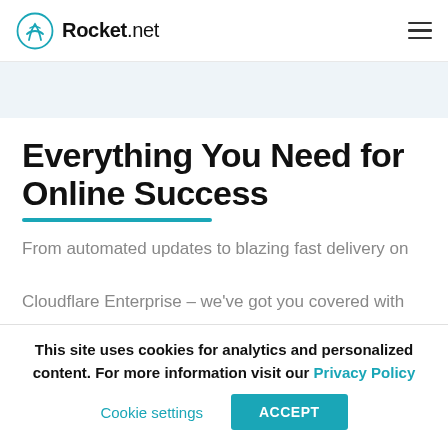Rocket.net
Everything You Need for Online Success
From automated updates to blazing fast delivery on Cloudflare Enterprise – we've got you covered with our all-in-one Managed WooCommerce Hosting
This site uses cookies for analytics and personalized content. For more information visit our Privacy Policy
Cookie settings  ACCEPT